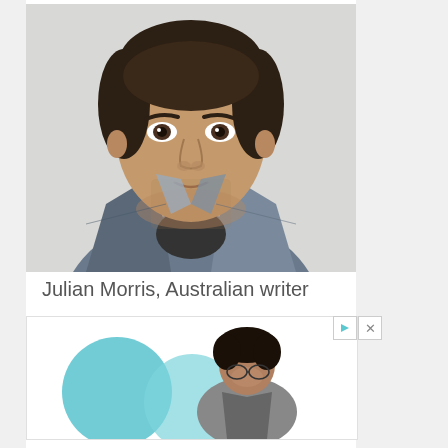[Figure (photo): Portrait photo of a young man with short dark hair and stubble, wearing a denim jacket, looking slightly to the side against a light background.]
Julian Morris, Australian writer
[Figure (photo): Advertisement banner showing a person with curly hair looking down, with teal/cyan circular shapes in the background. Has play and close buttons in top right corner.]